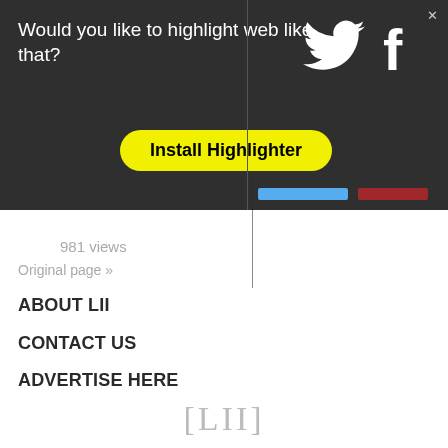[Figure (screenshot): Dark overlay banner with text 'Would you like to highlight web like that?', a yellow 'Install Highlighter' button, Twitter and Facebook social icons, and share count bars]
981 views
Original page »
ABOUT LII
CONTACT US
ADVERTISE HERE
HELP
TERMS OF USE
PRIVACY
[Figure (logo): LII logo in gray serif font with square brackets: [LII]]